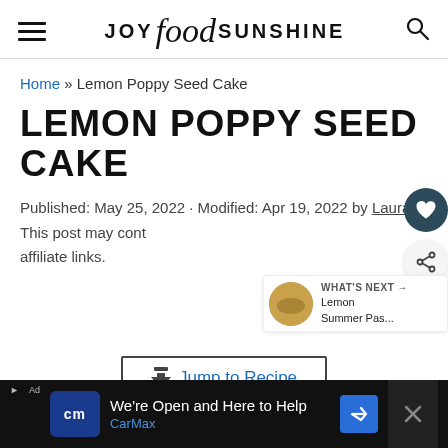JOY food SUNSHINE
Home » Lemon Poppy Seed Cake
LEMON POPPY SEED CAKE
Published: May 25, 2022 · Modified: Apr 19, 2022 by Laura · This post may contain affiliate links.
Jump to Recipe
[Figure (other): CarMax advertisement bar: 'We're Open and Here to Help CarMax']